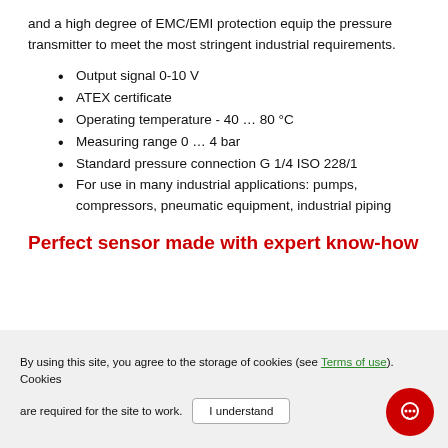and a high degree of EMC/EMI protection equip the pressure transmitter to meet the most stringent industrial requirements.
Output signal 0-10 V
ATEX certificate
Operating temperature - 40 … 80 °C
Measuring range 0 … 4 bar
Standard pressure connection G 1/4 ISO 228/1
For use in many industrial applications: pumps, compressors, pneumatic equipment, industrial piping
Perfect sensor made with expert know-how
[Figure (photo): Top of a dark-colored pressure transmitter sensor visible at bottom center of page]
By using this site, you agree to the storage of cookies (see Terms of use). Cookies are required for the site to work.